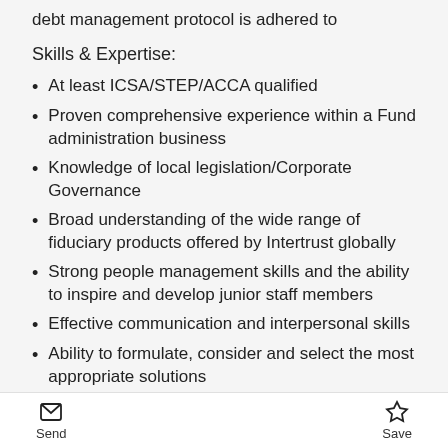debt management protocol is adhered to
Skills & Expertise:
At least ICSA/STEP/ACCA qualified
Proven comprehensive experience within a Fund administration business
Knowledge of local legislation/Corporate Governance
Broad understanding of the wide range of fiduciary products offered by Intertrust globally
Strong people management skills and the ability to inspire and develop junior staff members
Effective communication and interpersonal skills
Ability to formulate, consider and select the most appropriate solutions
Ability to work effectively in a team
For further information please...
Send   Save